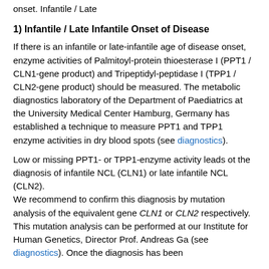onset. Infantile / Late
1) Infantile / Late Infantile Onset of Disease
If there is an infantile or late-infantile age of disease onset, enzyme activities of Palmitoyl-protein thioesterase I (PPT1 / CLN1-gene product) and Tripeptidyl-peptidase I (TPP1 / CLN2-gene product) should be measured. The metabolic diagnostics laboratory of the Department of Paediatrics at the University Medical Center Hamburg, Germany has established a technique to measure PPT1 and TPP1 enzyme activities in dry blood spots (see diagnostics).
Low or missing PPT1- or TPP1-enzyme activity leads ot the diagnosis of infantile NCL (CLN1) or late infantile NCL (CLN2). We recommend to confirm this diagnosis by mutation analysis of the equivalent gene CLN1 or CLN2 respectively. This mutation analysis can be performed at our Institute for Human Genetics, Director Prof. Andreas Ga (see diagnostics). Once the diagnosis has been